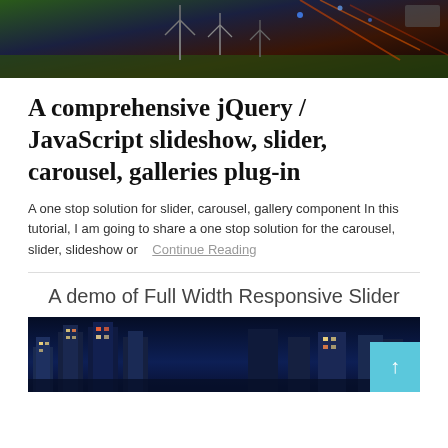[Figure (photo): Top image showing wind turbines on a green field with colorful lighting, dark background]
A comprehensive jQuery / JavaScript slideshow, slider, carousel, galleries plug-in
A one stop solution for slider, carousel, gallery component In this tutorial, I am going to share a one stop solution for the carousel, slider, slideshow or   Continue Reading
[Figure (photo): City skyline at night with illuminated skyscrapers against a dark blue sky]
A demo of Full Width Responsive Slider